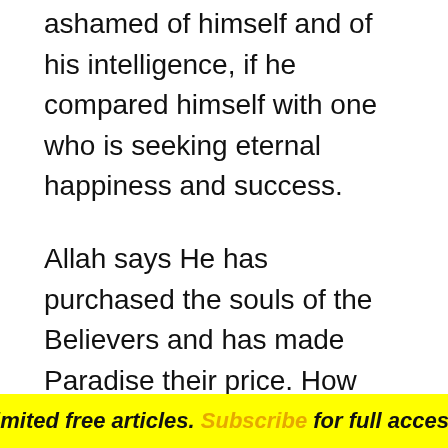ashamed of himself and of his intelligence, if he compared himself with one who is seeking eternal happiness and success.
Allah says He has purchased the souls of the Believers and has made Paradise their price. How can the intelligent person neglect the soul and agree to sell it for an insignificant price? Is this not the greatest of frauds, which will become manifest on the Day of Resurrection, when the scales of those having taqwa (consciousness/fear) of Allah will be heavy (with good deeds) and the scales of
Limited free articles. Subscribe for full access.